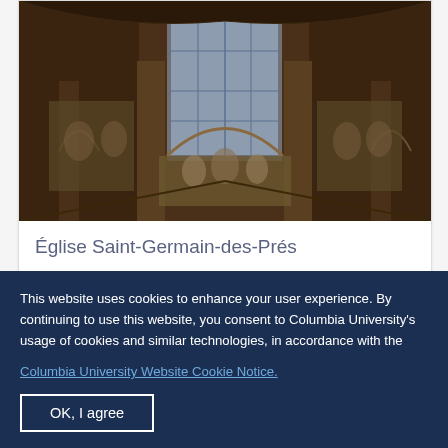[Figure (photo): Interior photograph of Église Saint-Germain-des-Prés showing north nave, arcade and clerestory with arches, columns, and ornate frescoes lit by tall windows]
Église Saint-Germain-des-Prés
Interior, north nave, arcade and clerestory…
[Figure (photo): Partial view of another church interior showing Gothic arches in dark tones]
This website uses cookies to enhance your user experience. By continuing to use this website, you consent to Columbia University's usage of cookies and similar technologies, in accordance with the
Columbia University Website Cookie Notice.
OK, I agree